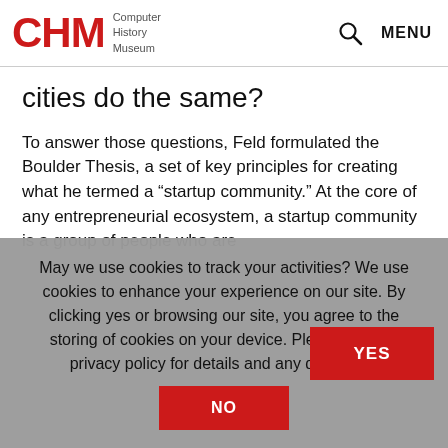CHM Computer History Museum — MENU
cities do the same?
To answer those questions, Feld formulated the Boulder Thesis, a set of key principles for creating what he termed a “startup community.” At the core of any entrepreneurial ecosystem, a startup community is a group of people who are fundamentally committed to long-term success and...
May we use cookies to track your activities? We use cookies to enhance your experience on our site. By clicking yes or browsing our site, you agree to the storing of cookies on your device. Please see our privacy policy for details and any questions.